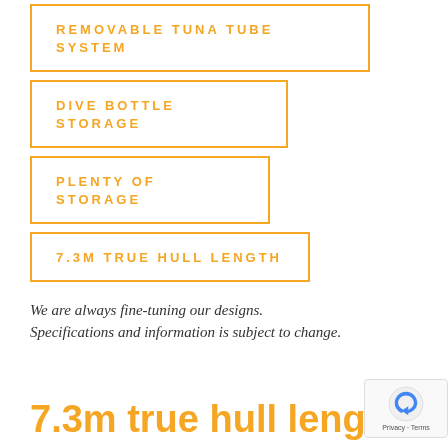REMOVABLE TUNA TUBE SYSTEM
DIVE BOTTLE STORAGE
PLENTY OF STORAGE
7.3M TRUE HULL LENGTH
We are always fine-tuning our designs. Specifications and information is subject to change.
7.3m true hull length